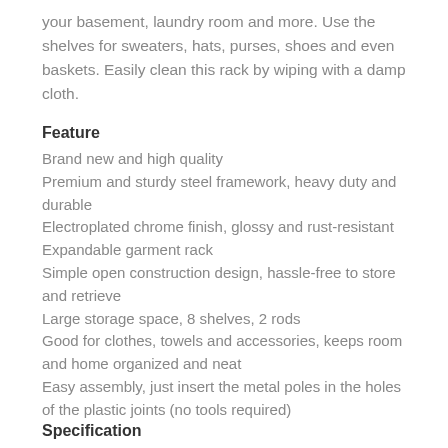your basement, laundry room and more. Use the shelves for sweaters, hats, purses, shoes and even baskets. Easily clean this rack by wiping with a damp cloth.
Feature
Brand new and high quality
Premium and sturdy steel framework, heavy duty and durable
Electroplated chrome finish, glossy and rust-resistant
Expandable garment rack
Simple open construction design, hassle-free to store and retrieve
Large storage space, 8 shelves, 2 rods
Good for clothes, towels and accessories, keeps room and home organized and neat
Easy assembly, just insert the metal poles in the holes of the plastic joints (no tools required)
Specification